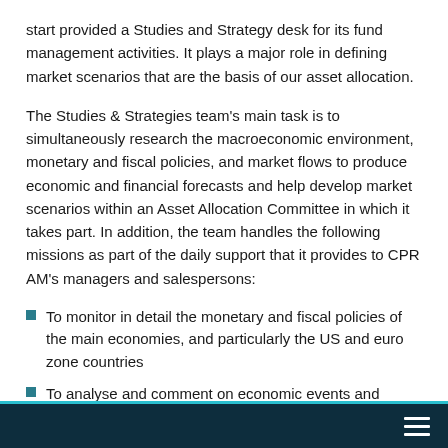start provided a Studies and Strategy desk for its fund management activities. It plays a major role in defining market scenarios that are the basis of our asset allocation.
The Studies & Strategies team's main task is to simultaneously research the macroeconomic environment, monetary and fiscal policies, and market flows to produce economic and financial forecasts and help develop market scenarios within an Asset Allocation Committee in which it takes part. In addition, the team handles the following missions as part of the daily support that it provides to CPR AM's managers and salespersons:
To monitor in detail the monetary and fiscal policies of the main economies, and particularly the US and euro zone countries
To analyse and comment on economic events and statistics
To present research findings and forecasts and to reply to the questions asked occasionally by CPR AM managers
To serve on our client-dedicated committees
To keep up with current economic thought in the financial field,